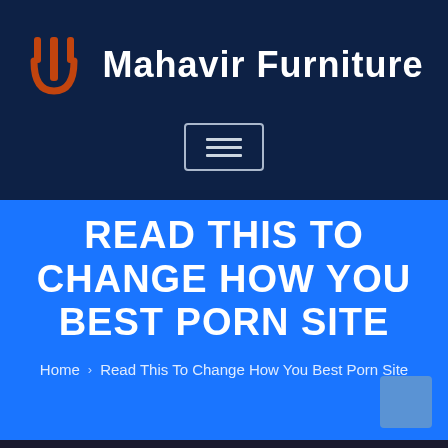[Figure (logo): Mahavir Furniture logo with orange trident-like icon and white bold brand name text on dark navy background]
[Figure (other): Hamburger menu button with three horizontal lines inside a rounded rectangle border]
READ THIS TO CHANGE HOW YOU BEST PORN SITE
Home  Read This To Change How You Best Porn Site